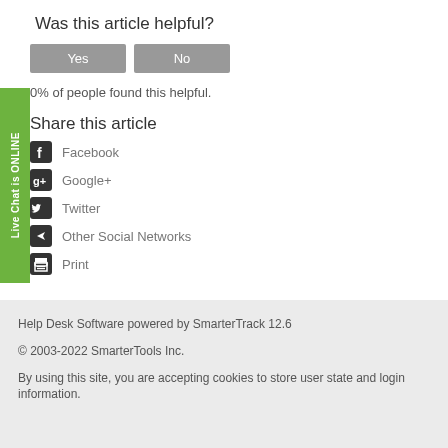Was this article helpful?
0% of people found this helpful.
Share this article
Facebook
Google+
Twitter
Other Social Networks
Print
Help Desk Software powered by SmarterTrack 12.6
© 2003-2022 SmarterTools Inc.
By using this site, you are accepting cookies to store user state and login information.